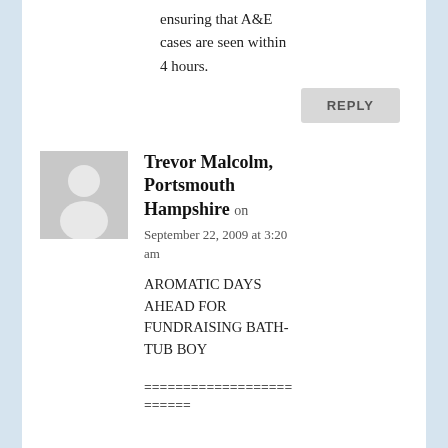ensuring that A&E cases are seen within 4 hours.
REPLY
Trevor Malcolm, Portsmouth Hampshire on September 22, 2009 at 3:20 am
AROMATIC DAYS AHEAD FOR FUNDRAISING BATH-TUB BOY
=========================